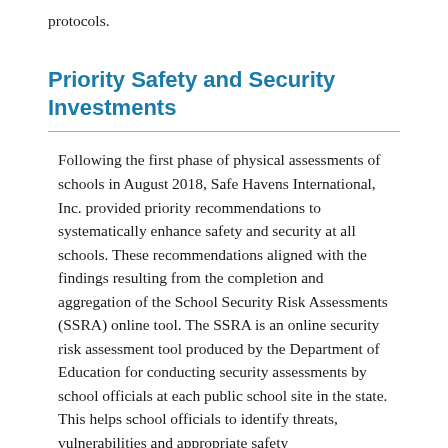protocols.
Priority Safety and Security Investments
Following the first phase of physical assessments of schools in August 2018, Safe Havens International, Inc. provided priority recommendations to systematically enhance safety and security at all schools. These recommendations aligned with the findings resulting from the completion and aggregation of the School Security Risk Assessments (SSRA) online tool. The SSRA is an online security risk assessment tool produced by the Department of Education for conducting security assessments by school officials at each public school site in the state. This helps school officials to identify threats, vulnerabilities and appropriate safety